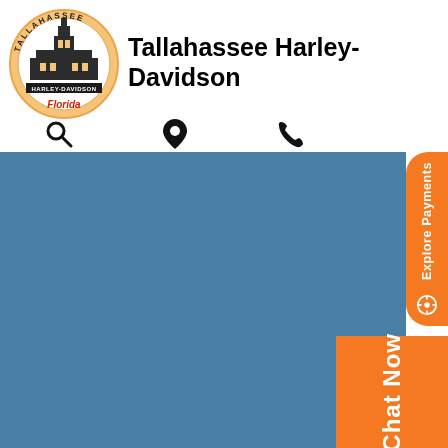[Figure (logo): Tallahassee Harley-Davidson circular logo with building and Florida script]
Tallahassee Harley-Davidson
[Figure (infographic): Three icons: magnifying glass (search), map pin (location), phone (call)]
[Figure (photo): Person in black leather riding a Harley-Davidson touring motorcycle on a road with trees and water in background]
Explore Payments
Chat Now